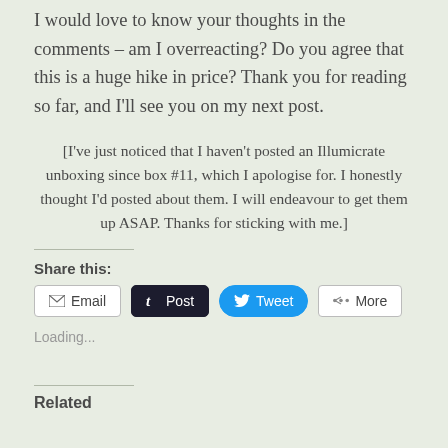I would love to know your thoughts in the comments – am I overreacting? Do you agree that this is a huge hike in price? Thank you for reading so far, and I'll see you on my next post.
[I've just noticed that I haven't posted an Illumicrate unboxing since box #11, which I apologise for. I honestly thought I'd posted about them. I will endeavour to get them up ASAP. Thanks for sticking with me.]
Share this:
Email  Post  Tweet  More
Loading...
Related